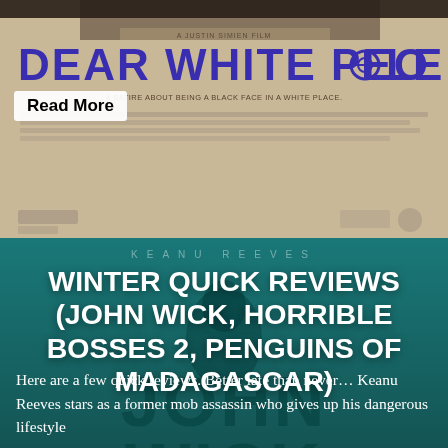[Figure (photo): Movie poster for 'Dear White People' - a Justin Simien film, with tagline 'A satire about being a black face in a white place']
Read More
[Figure (photo): Promotional image for John Wick featuring Keanu Reeves on a dark teal background with large 'JOHN WICK' text]
WINTER QUICK REVIEWS (JOHN WICK, HORRIBLE BOSSES 2, PENGUINS OF MADAGASCAR)
Here are a few quick reviews. Better late than never… Keanu Reeves stars as a former mob assassin who gives up his dangerous lifestyle